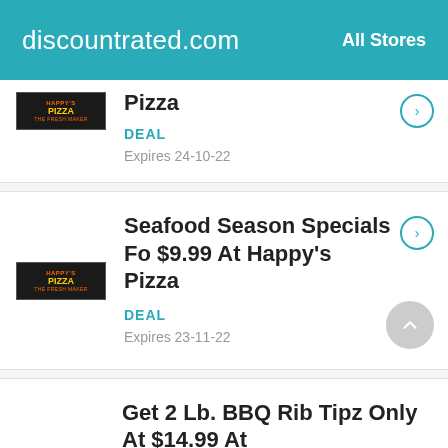discountrated.com   All Stores
Pizza — DEAL — Expires 24-10-22
Seafood Season Specials Fo $9.99 At Happy's Pizza — DEAL — Expires 23-11-22
Get 2 Lb. BBQ Rib Tipz Only At $14.99 At